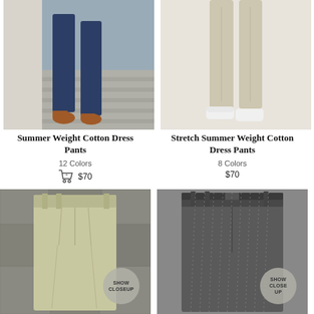[Figure (photo): Person walking wearing navy blue dress pants with brown loafers on stone steps]
[Figure (photo): Person wearing khaki/beige stretch dress pants with white sneakers on light background]
Summer Weight Cotton Dress Pants
Stretch Summer Weight Cotton Dress Pants
12 Colors
8 Colors
$70
$70
[Figure (photo): Khaki/olive pleated cotton trousers laid flat on stone background with SHOW CLOSEUP button overlay]
[Figure (photo): Dark grey pinstripe dress pants laid flat with SHOW CLOSEUP button overlay]